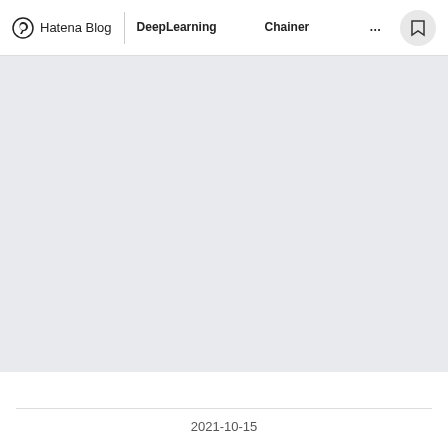Hatena Blog | DeepLearning　　　　Chainer
[Figure (other): Large light gray placeholder image area filling most of the page]
2021-10-15